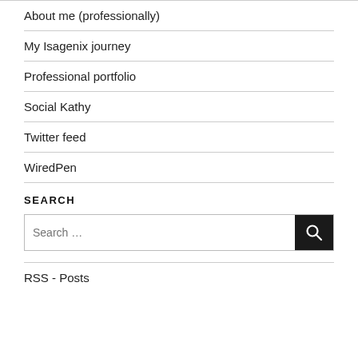About me (professionally)
My Isagenix journey
Professional portfolio
Social Kathy
Twitter feed
WiredPen
SEARCH
Search …
RSS - Posts